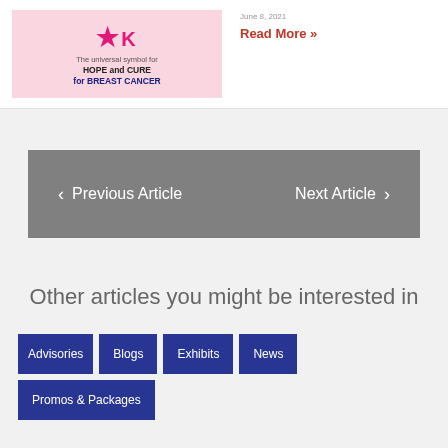[Figure (illustration): Pink cancer awareness ribbon banner with text 'The universal symbol for HOPE and CURE for BREAST CANCER']
Read More »
‹ Previous Article   Next Article ›
Other articles you might be interested in
Advisories
Blogs
Exhibits
News
Promos & Packages